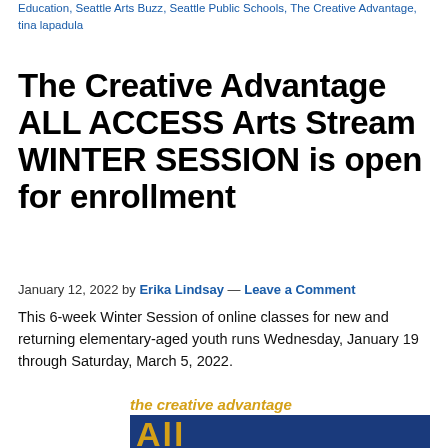Education, Seattle Arts Buzz, Seattle Public Schools, The Creative Advantage, tina lapadula
The Creative Advantage ALL ACCESS Arts Stream WINTER SESSION is open for enrollment
January 12, 2022 by Erika Lindsay — Leave a Comment
This 6-week Winter Session of online classes for new and returning elementary-aged youth runs Wednesday, January 19 through Saturday, March 5, 2022.
[Figure (logo): The Creative Advantage logo banner with gold italic text 'the creative advantage' above a dark blue banner showing large gold letters 'ALL']